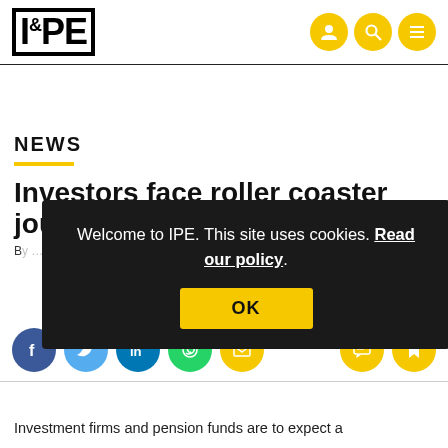IPE
NEWS
Investors face roller coaster journey f…
Welcome to IPE. This site uses cookies. Read our policy. OK
Investment firms and pension funds are to expect a